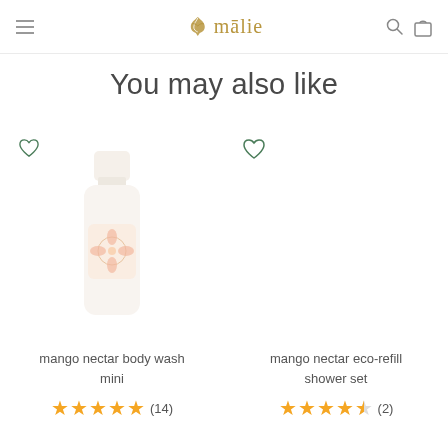mālie
You may also like
[Figure (photo): Product photo of mango nectar body wash mini bottle]
mango nectar body wash mini
★★★★★ (14)
[Figure (other): Empty product image area for mango nectar eco-refill shower set]
mango nectar eco-refill shower set
★★★★☆ (2)